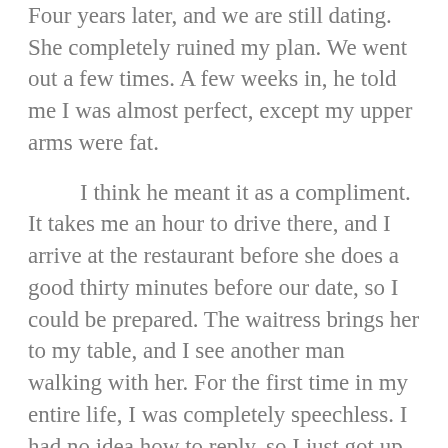Four years later, and we are still dating. She completely ruined my plan. We went out a few times. A few weeks in, he told me I was almost perfect, except my upper arms were fat.
I think he meant it as a compliment. It takes me an hour to drive there, and I arrive at the restaurant before she does a good thirty minutes before our date, so I could be prepared. The waitress brings her to my table, and I see another man walking with her. For the first time in my entire life, I was completely speechless. I had no idea how to reply, so I just got up and walked out of the restaurant without saying a word.
We decided to go get dinner, and she was even better in person. When I got home, she texted me saying that I was just going to use her had we had sex, calling me a pig. Her friend went to her house, where Ashley had apparently left her phone, and her car and the front door